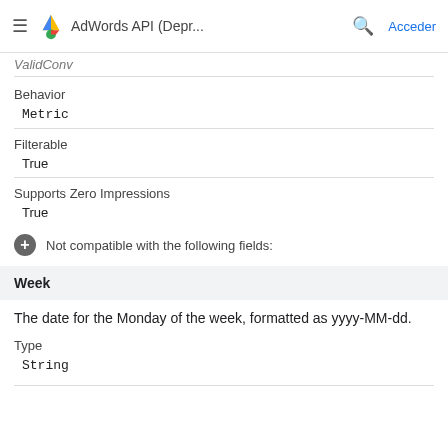AdWords API (Depr... Acceder
ValidConv
Behavior
Metric
Filterable
True
Supports Zero Impressions
True
Not compatible with the following fields:
Week
The date for the Monday of the week, formatted as yyyy-MM-dd.
Type
String